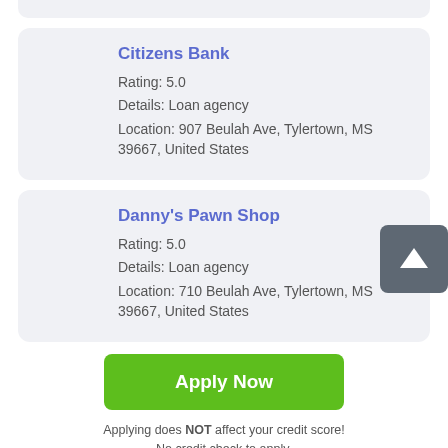Citizens Bank
Rating: 5.0
Details: Loan agency
Location: 907 Beulah Ave, Tylertown, MS 39667, United States
Danny's Pawn Shop
Rating: 5.0
Details: Loan agency
Location: 710 Beulah Ave, Tylertown, MS 39667, United States
Apply Now
Applying does NOT affect your credit score!
No credit check to apply.